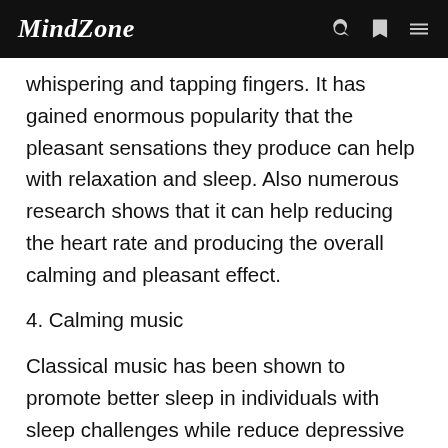MindZone
whispering and tapping fingers. It has gained enormous popularity that the pleasant sensations they produce can help with relaxation and sleep. Also numerous research shows that it can help reducing the heart rate and producing the overall calming and pleasant effect.
4. Calming music
Classical music has been shown to promote better sleep in individuals with sleep challenges while reduce depressive